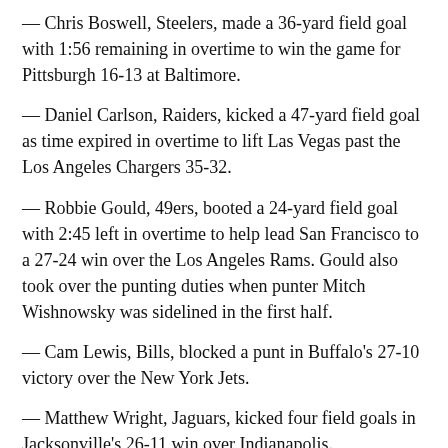— Chris Boswell, Steelers, made a 36-yard field goal with 1:56 remaining in overtime to win the game for Pittsburgh 16-13 at Baltimore.
— Daniel Carlson, Raiders, kicked a 47-yard field goal as time expired in overtime to lift Las Vegas past the Los Angeles Chargers 35-32.
— Robbie Gould, 49ers, booted a 24-yard field goal with 2:45 left in overtime to help lead San Francisco to a 27-24 win over the Los Angeles Rams. Gould also took over the punting duties when punter Mitch Wishnowsky was sidelined in the first half.
— Cam Lewis, Bills, blocked a punt in Buffalo's 27-10 victory over the New York Jets.
— Matthew Wright, Jaguars, kicked four field goals in Jacksonville's 26-11 win over Indianapolis.